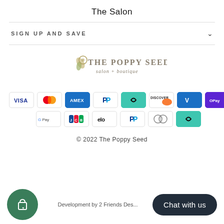The Salon
SIGN UP AND SAVE
[Figure (logo): The Poppy Seed salon + boutique logo with stylized poppy plant]
[Figure (infographic): Payment method icons: Visa, Mastercard, Amex, PayPal, AfterPay, Discover, Venmo, OPay, Google Pay, JCB, Elo, PayPal, Diners Club, AfterPay]
© 2022 The Poppy Seed
Development by 2 Friends Des...
[Figure (illustration): Green circular shopping bag with heart icon button]
Chat with us